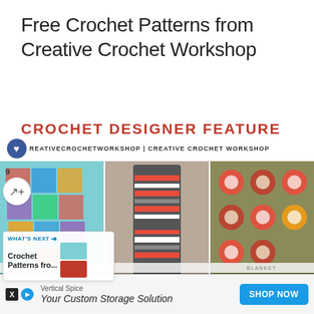Free Crochet Patterns from Creative Crochet Workshop
CROCHET DESIGNER FEATURE
CREATIVECROCHETWORKSHOP | CREATIVE CROCHET WORKSHOP
[Figure (photo): Three crochet items: colorful granny square blanket, striped shawl on mannequin, and red/green circular motif blanket]
WHAT'S NEXT → Crochet Patterns fro...
SCRAPSTOP ... BLANKET
Vertical Spice
Your Custom Storage Solution
SHOP NOW